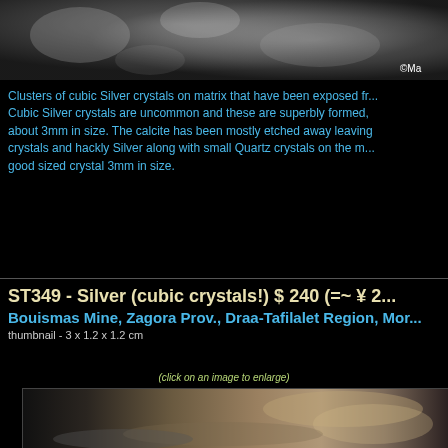[Figure (photo): Close-up photograph of cubic silver crystals on matrix, dark background. Copyright mark visible bottom right.]
Clusters of cubic Silver crystals on matrix that have been exposed fr... Cubic Silver crystals are uncommon and these are superbly formed, about 3mm in size. The calcite has been mostly etched away leaving crystals and hackly Silver along with small Quartz crystals on the m... good sized crystal 3mm in size.
ST349 - Silver (cubic crystals!) $ 240 (=~ ¥ 2...
Bouismas Mine, Zagora Prov., Draa-Tafilalet Region, Mor...
thumbnail - 3 x 1.2 x 1.2 cm
(click on an image to enlarge)
[Figure (photo): Photograph of silver mineral specimen showing cubic crystals and hackly silver formations on a dark background.]